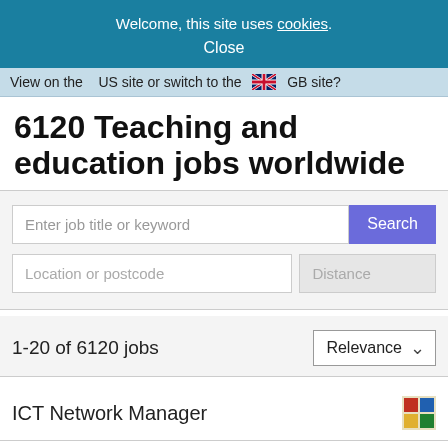Welcome, this site uses cookies. Close
View on the US site or switch to the GB site?
6120 Teaching and education jobs worldwide
[Figure (screenshot): Job search form with keyword input, Search button, location/postcode input, and Distance dropdown]
1-20 of 6120 jobs
ICT Network Manager